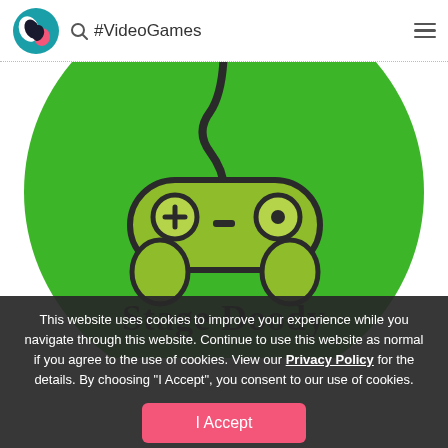#VideoGames
[Figure (illustration): StageDoodyStar logo: a cute cartoon game controller on a green circle background with text 'Stage Doody' in dark serif font]
This website uses cookies to improve your experience while you navigate through this website. Continue to use this website as normal if you agree to the use of cookies. View our Privacy Policy for the details. By choosing "I Accept", you consent to our use of cookies.
I Accept
StageDoodyStar